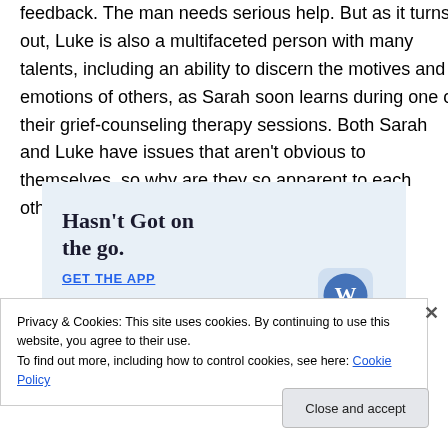feedback. The man needs serious help. But as it turns out, Luke is also a multifaceted person with many talents, including an ability to discern the motives and emotions of others, as Sarah soon learns during one of their grief-counseling therapy sessions. Both Sarah and Luke have issues that aren't obvious to themselves, so why are they so apparent to each other?
[Figure (screenshot): Advertisement banner with text 'Hasn't Got on the go.' and 'GET THE APP' with WordPress logo icon]
Privacy & Cookies: This site uses cookies. By continuing to use this website, you agree to their use. To find out more, including how to control cookies, see here: Cookie Policy
Close and accept